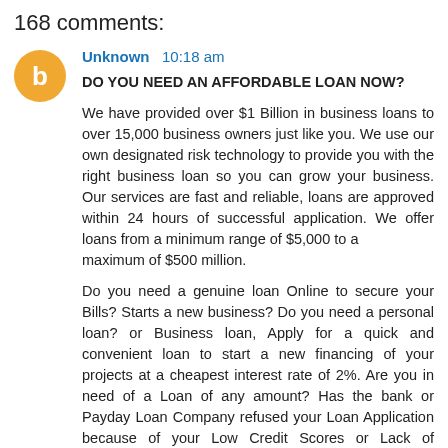168 comments:
Unknown 10:18 am
DO YOU NEED AN AFFORDABLE LOAN NOW?

We have provided over $1 Billion in business loans to over 15,000 business owners just like you. We use our own designated risk technology to provide you with the right business loan so you can grow your business. Our services are fast and reliable, loans are approved within 24 hours of successful application. We offer loans from a minimum range of $5,000 to a maximum of $500 million.

Do you need a genuine loan Online to secure your Bills? Starts a new business? Do you need a personal loan? or Business loan, Apply for a quick and convenient loan to start a new financing of your projects at a cheapest interest rate of 2%. Are you in need of a Loan of any amount? Has the bank or Payday Loan Company refused your Loan Application because of your Low Credit Scores or Lack of Collateral Security or any reason as before...